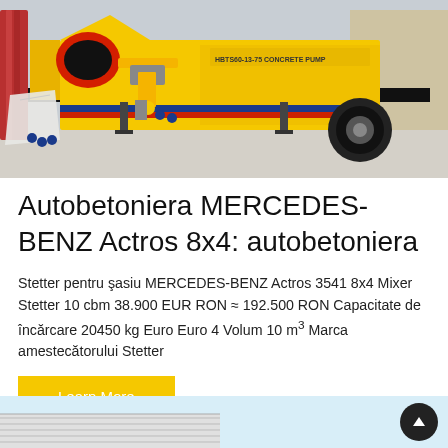[Figure (photo): Yellow HBTS60-13-75 concrete pump machine on a trailer, parked on a concrete surface outdoors. The machine is bright yellow with red and blue accents, featuring a large hopper, pump mechanism, and a wheel on the right side.]
Autobetoniera MERCEDES-BENZ Actros 8x4: autobetoniera
Stetter pentru şasiu MERCEDES-BENZ Actros 3541 8x4 Mixer Stetter 10 cbm 38.900 EUR RON ≈ 192.500 RON Capacitate de încărcare 20450 kg Euro Euro 4 Volum 10 m³ Marca amestecătorului Stetter
Learn More
[Figure (photo): Partial view of a building with a light blue sky background and corrugated roof/wall panel visible at bottom of page.]